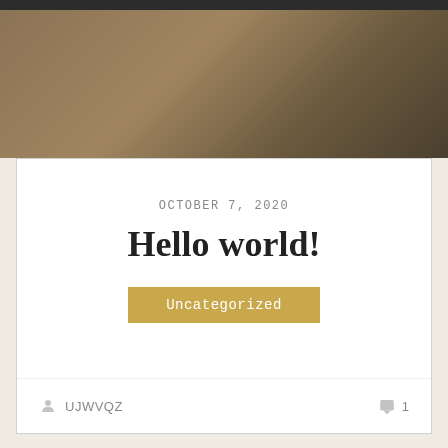[Figure (photo): Dark decorative header image with warm brown/gold tones]
OCTOBER 7, 2020
Hello world!
Uncategorized
UJWVQZ
1